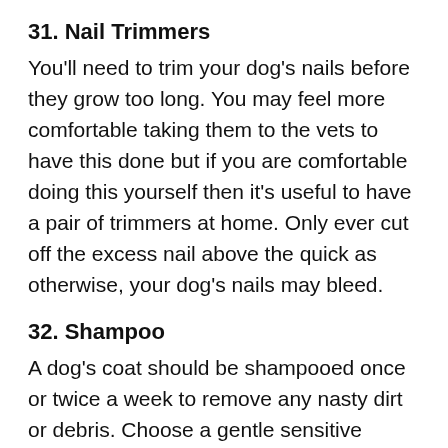31. Nail Trimmers
You'll need to trim your dog's nails before they grow too long. You may feel more comfortable taking them to the vets to have this done but if you are comfortable doing this yourself then it's useful to have a pair of trimmers at home. Only ever cut off the excess nail above the quick as otherwise, your dog's nails may bleed.
32. Shampoo
A dog's coat should be shampooed once or twice a week to remove any nasty dirt or debris. Choose a gentle sensitive shampoo that won't cause any damage to your dog's